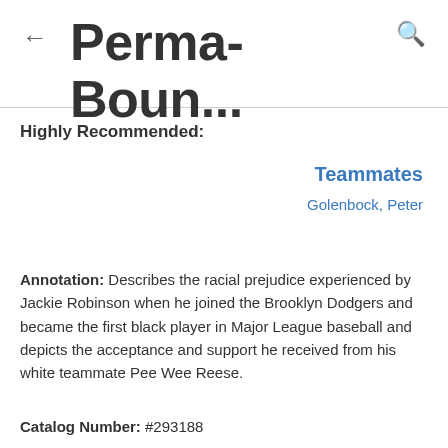Perma-Boun...
Highly Recommended:
Teammates
Golenbock, Peter
Annotation: Describes the racial prejudice experienced by Jackie Robinson when he joined the Brooklyn Dodgers and became the first black player in Major League baseball and depicts the acceptance and support he received from his white teammate Pee Wee Reese.
Catalog Number: #293188